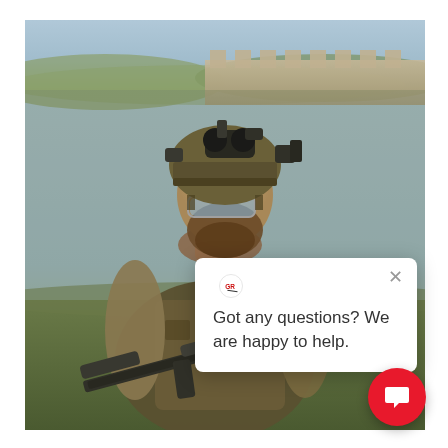[Figure (photo): A bearded male soldier/operator in full tactical gear — camouflage helmet with night-vision binoculars mounted on top, ballistic glasses, plate carrier vest, holding a large rifle — standing outdoors in a field with hills and a wall structure in background.]
Got any questions? We are happy to help.